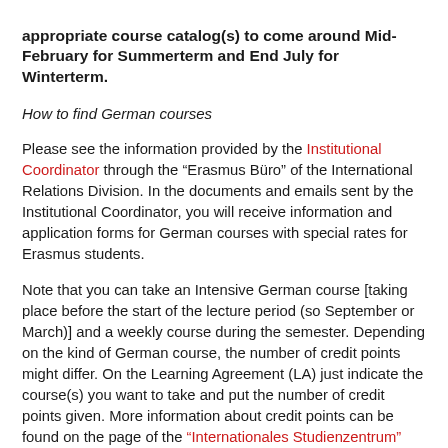appropriate course catalog(s) to come around Mid-February for Summerterm and End July for Winterterm.
How to find German courses
Please see the information provided by the Institutional Coordinator through the “Erasmus Büro” of the International Relations Division. In the documents and emails sent by the Institutional Coordinator, you will receive information and application forms for German courses with special rates for Erasmus students.
Note that you can take an Intensive German course [taking place before the start of the lecture period (so September or March)] and a weekly course during the semester. Depending on the kind of German course, the number of credit points might differ. On the Learning Agreement (LA) just indicate the course(s) you want to take and put the number of credit points given. More information about credit points can be found on the page of the “Internationales Studienzentrum” (ISZ).  We presume that you have already reached at least level A2/B1 in German.
A placement test will decide which course level is the most appropriate for you. The coordination for Erasmus students is ensured by the Institutional Coordinator. At the end of the course, a “Schein”, a certificate of course completion, will be issued and